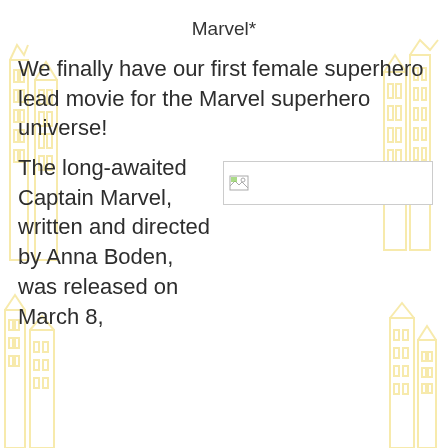Marvel*
We finally have our first female superhero lead movie for the Marvel superhero universe!
The long-awaited Captain Marvel, written and directed by Anna Boden, was released on March 8,
[Figure (photo): Image placeholder with broken image icon]